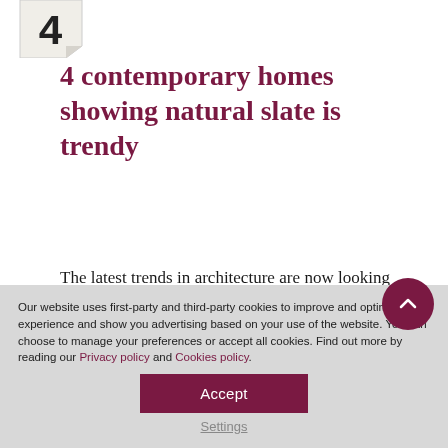[Figure (illustration): Corner tag/bookmark shape with large number '4' in bold black font on white/gray paper tag]
4 contemporary homes showing natural slate is trendy
The latest trends in architecture are now looking for more sustainable buildings, using natural materials with the lowest carbon footprint.
Our website uses first-party and third-party cookies to improve and optimize user experience and show you advertising based on your use of the website. You can choose to manage your preferences or accept all cookies. Find out more by reading our Privacy policy and Cookies policy.
Accept
Settings